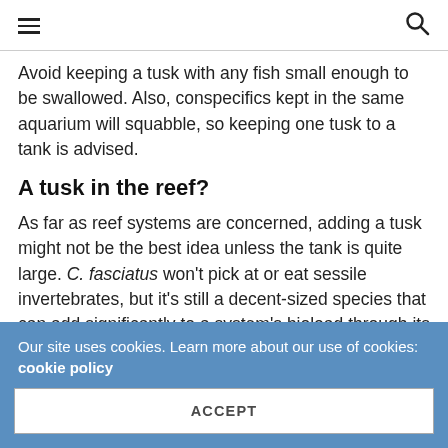≡   🔍
Avoid keeping a tusk with any fish small enough to be swallowed. Also, conspecifics kept in the same aquarium will squabble, so keeping one tusk to a tank is advised.
A tusk in the reef?
As far as reef systems are concerned, adding a tusk might not be the best idea unless the tank is quite large. C. fasciatus won't pick at or eat sessile invertebrates, but it's still a decent-sized species that can add significantly to a system's bioload through its feeding and waste production. Thus, the bigger issue in keeping this species
Our site uses cookies. Learn more about our use of cookies: cookie policy
ACCEPT